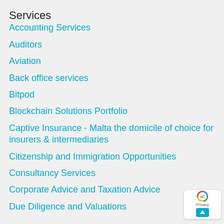Services
Accounting Services
Auditors
Aviation
Back office services
Bitpod
Blockchain Solutions Portfolio
Captive Insurance - Malta the domicile of choice for insurers & intermediaries
Citizenship and Immigration Opportunities
Consultancy Services
Corporate Advice and Taxation Advice
Due Diligence and Valuations